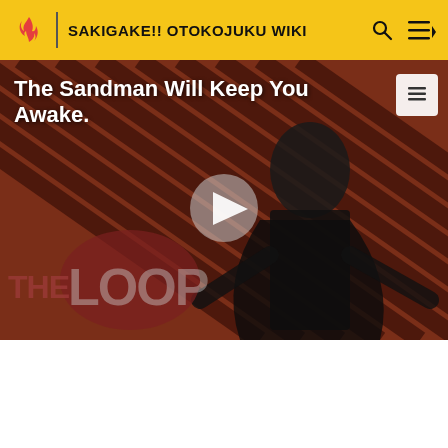SAKIGAKE!! OTOKOJUKU WIKI
[Figure (screenshot): Video thumbnail for 'The Sandman Will Keep You Awake - The Loop' showing a pale figure in black against a red and dark diagonal stripe background, with 'THE LOOP' text overlay and a play button in the center.]
The Sandman Will Keep You Awake - The Loop
and spins his clogs on top of them fast enough to cause afterimages, and sends them flying towards his opponent.